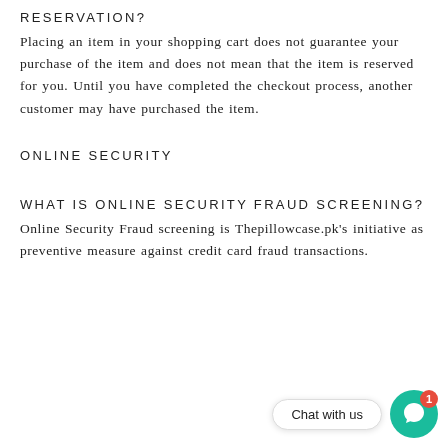RESERVATION?
Placing an item in your shopping cart does not guarantee your purchase of the item and does not mean that the item is reserved for you. Until you have completed the checkout process, another customer may have purchased the item.
ONLINE SECURITY
WHAT IS ONLINE SECURITY FRAUD SCREENING?
Online Security Fraud screening is Thepillowcase.pk's initiative as preventive measure against credit card fraud transactions.